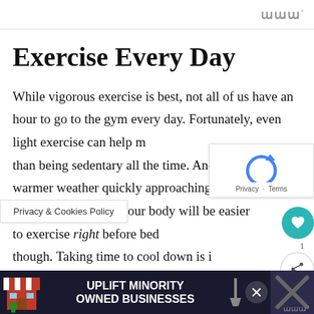w°
Exercise Every Day
While vigorous exercise is best, not all of us have an hour to go to the gym every day. Fortunately, even light exercise can help m... than being sedentary all the time. And with warmer weather quickly approaching, getting outside and moving your body will be easier ... to exercise right before bed though. Taking time to cool down is i... too.
Privacy & Cookies Policy
[Figure (other): reCAPTCHA widget with Privacy and Terms links]
[Figure (other): Heart/favorite button with count of 1]
[Figure (other): Share button]
[Figure (other): What's Next panel: These Foods Will Help Yo...]
[Figure (other): Advertisement banner: UPLIFT MINORITY OWNED BUSINESSES]